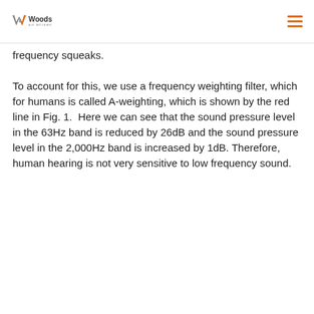Woods Air Movement
frequency squeaks.
To account for this, we use a frequency weighting filter, which for humans is called A-weighting, which is shown by the red line in Fig. 1.  Here we can see that the sound pressure level in the 63Hz band is reduced by 26dB and the sound pressure level in the 2,000Hz band is increased by 1dB. Therefore, human hearing is not very sensitive to low frequency sound.